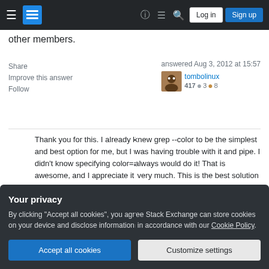Stack Exchange navigation bar with Log in and Sign up buttons
other members.
Share   answered Aug 3, 2012 at 15:57
Improve this answer   tombolinux
Follow   417 ● 3 ● 8
Thank you for this. I already knew grep --color to be the simplest and best option for me, but I was having trouble with it and pipe. I didn't know specifying color=always would do it! That is awesome, and I appreciate it very much. This is the best solution of any for me on this page. – ctrlbrk Apr 12, 2020 at 18:43
Your privacy
By clicking "Accept all cookies", you agree Stack Exchange can store cookies on your device and disclose information in accordance with our Cookie Policy.
Accept all cookies   Customize settings